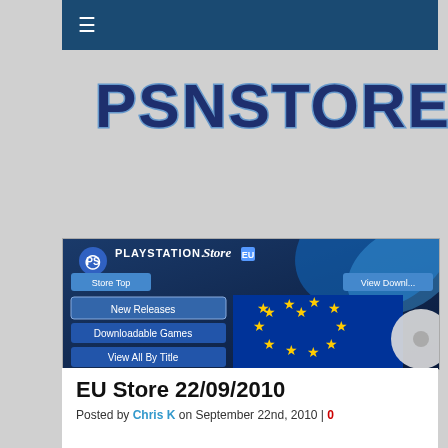≡
[Figure (logo): PSNSTORES logo in large bold dark blue text with blue outline]
[Figure (screenshot): PlayStation Store EU screenshot showing navigation menu with New Releases, Downloadable Games, View All By Title options, and EU flag image]
EU Store 22/09/2010
Posted by Chris K on September 22nd, 2010 | 0